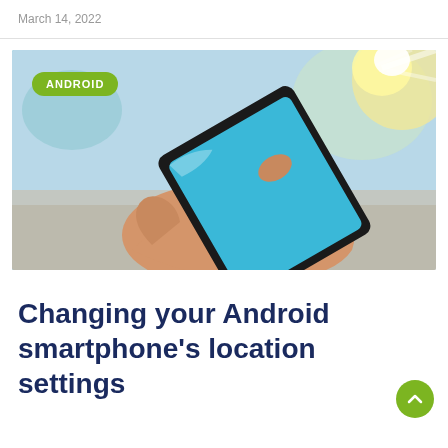March 14, 2022
[Figure (photo): Close-up of a hand holding a black Android smartphone against a blurred outdoor background with sunlight. A green 'ANDROID' badge/label overlays the top-left of the image.]
Changing your Android smartphone's location settings